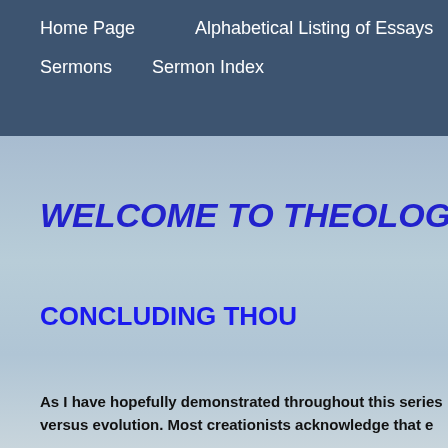Home Page    Alphabetical Listing of Essays    R...
Sermons    Sermon Index
WELCOME TO THEOLOGICAL
CONCLUDING THOU
As I have hopefully demonstrated throughout this series versus evolution. Most creationists acknowledge that e...